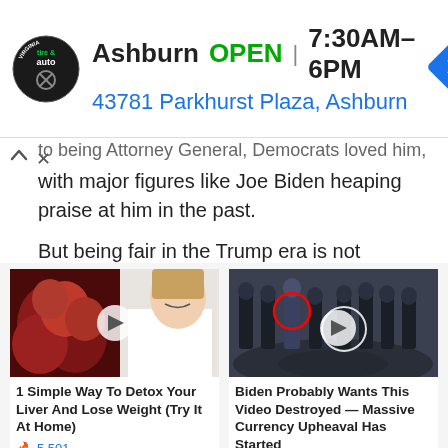[Figure (screenshot): Advertisement banner: Ashburn tire & auto logo, text 'Ashburn OPEN 7:30AM-6PM', address '43781 Parkhurst Plaza, Ashburn', blue navigation arrow icon]
to being Attorney General, Democrats loved him, with major figures like Joe Biden heaping praise at him in the past.

But being fair in the Trump era is not acceptable.

To the Democrats, you are either with [Promoted] np
[Figure (screenshot): Two sponsored content cards side by side. Left: image of dark red fruit and woman in white coat, title '1 Simple Way To Detox Your Liver And Lose Weight (Try It At Home)', 5,501 views. Right: image of group of men in dark suits with red circle around one figure, title 'Biden Probably Wants This Video Destroyed — Massive Currency Upheaval Has Started', 129,287 views.]